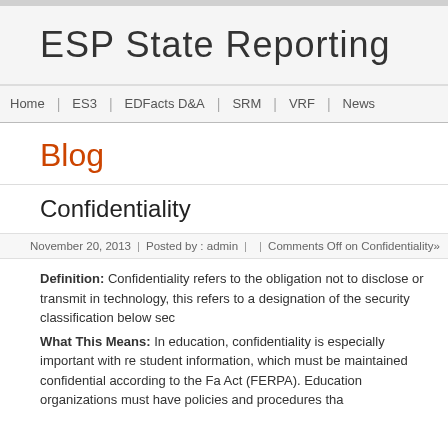ESP State Reporting
Home | ES3 | EDFacts D&A | SRM | VRF | News
Blog
Confidentiality
November 20, 2013 | Posted by : admin | | Comments Off on Confidentiality»
Definition: Confidentiality refers to the obligation not to disclose or transmit in technology, this refers to a designation of the security classification below sec What This Means: In education, confidentiality is especially important with re student information, which must be maintained confidential according to the Fa Act (FERPA). Education organizations must have policies and procedures tha